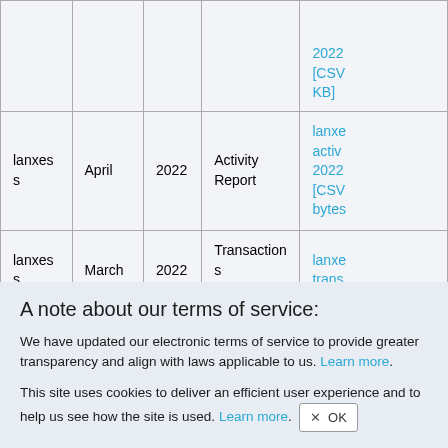|  |  |  |  |  |
| --- | --- | --- | --- | --- |
|  |  |  |  | [CSV
KB] |
| lanxess | April | 2022 | Activity Report | lanxe
activ
2022
[CSV
bytes |
| lanxess | March | 2022 | Transactions Report | lanxe
trans |
A note about our terms of service:
We have updated our electronic terms of service to provide greater transparency and align with laws applicable to us. Learn more.
This site uses cookies to deliver an efficient user experience and to help us see how the site is used. Learn more. OK